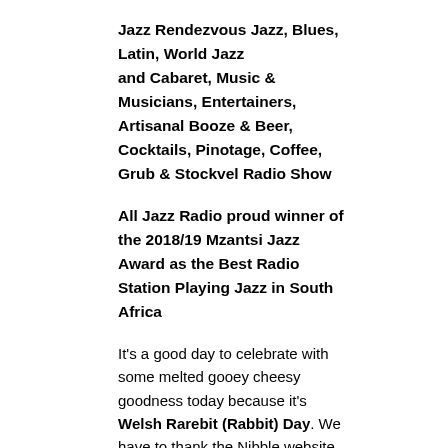Jazz Rendezvous Jazz, Blues, Latin, World Jazz and Cabaret, Music & Musicians, Entertainers, Artisanal Booze & Beer, Cocktails, Pinotage, Coffee, Grub & Stockvel Radio Show
All Jazz Radio proud winner of the 2018/19 Mzantsi Jazz Award as the Best Radio Station Playing Jazz in South Africa
It's a good day to celebrate with some melted gooey cheesy goodness today because it's Welsh Rarebit (Rabbit) Day. We have to thank the Nibble website for providing this information and